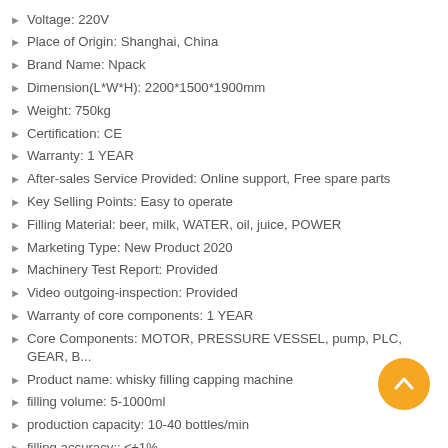Voltage: 220V
Place of Origin: Shanghai, China
Brand Name: Npack
Dimension(L*W*H): 2200*1500*1900mm
Weight: 750kg
Certification: CE
Warranty: 1 YEAR
After-sales Service Provided: Online support, Free spare parts
Key Selling Points: Easy to operate
Filling Material: beer, milk, WATER, oil, juice, POWER
Marketing Type: New Product 2020
Machinery Test Report: Provided
Video outgoing-inspection: Provided
Warranty of core components: 1 YEAR
Core Components: MOTOR, PRESSURE VESSEL, pump, PLC, GEAR, B...
Product name: whisky filling capping machine
filling volume: 5-1000ml
production capacity: 10-40 bottles/min
filling accuracy:: ≤±1%
filling head number:: 4